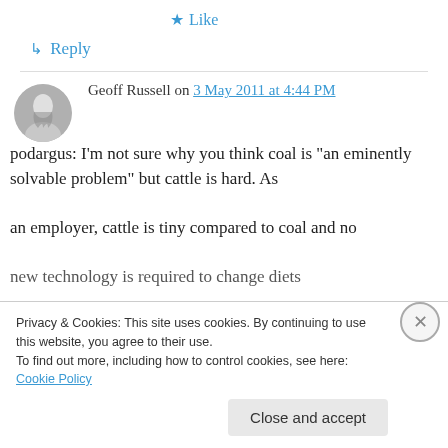★ Like
↳ Reply
Geoff Russell on 3 May 2011 at 4:44 PM
podargus: I'm not sure why you think coal is "an eminently solvable problem" but cattle is hard. As an employer, cattle is tiny compared to coal and no new technology is required to change diets
Privacy & Cookies: This site uses cookies. By continuing to use this website, you agree to their use. To find out more, including how to control cookies, see here: Cookie Policy